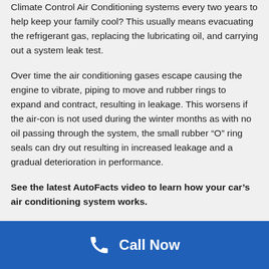Climate Control Air Conditioning systems every two years to help keep your family cool? This usually means evacuating the refrigerant gas, replacing the lubricating oil, and carrying out a system leak test.
Over time the air conditioning gases escape causing the engine to vibrate, piping to move and rubber rings to expand and contract, resulting in leakage. This worsens if the air-con is not used during the winter months as with no oil passing through the system, the small rubber “O” ring seals can dry out resulting in increased leakage and a gradual deterioration in performance.
See the latest AutoFacts video to learn how your car’s air conditioning system works.
If your car air conditioner isn’t running efficiently, needs a recharge,
Call Now